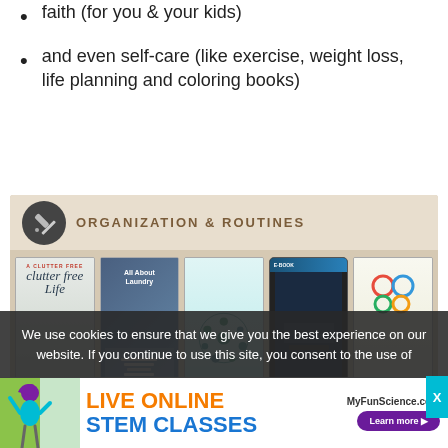faith (for you & your kids)
and even self-care (like exercise, weight loss, life planning and coloring books)
[Figure (screenshot): Organization & Routines book bundle image showing multiple e-book covers on a wooden background, including titles about clutter-free life, laundry, calendar, simplify, and home organization]
We use cookies to ensure that we give you the best experience on our website. If you continue to use this site, you consent to the use of
[Figure (infographic): Advertisement banner for MyFunScience.com showing Live Online STEM Classes with a cartoon girl figure and a Learn more button]